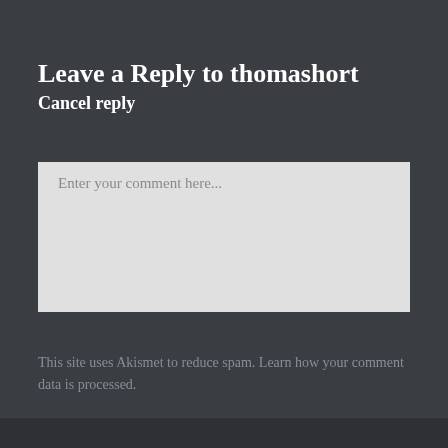Leave a Reply to thomashort
Cancel reply
[Figure (screenshot): Comment text input box with placeholder text 'Enter your comment here...']
This site uses Akismet to reduce spam. Learn how your comment data is processed.